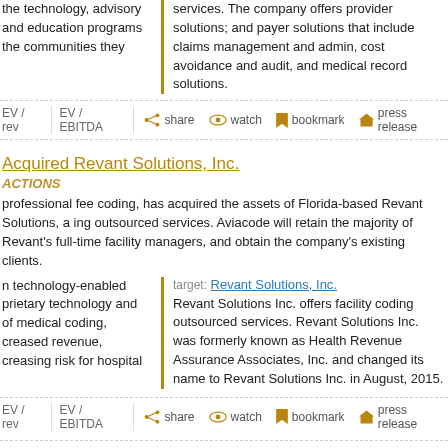the technology, advisory and education programs the communities they
services. The company offers provider solutions; and payer solutions that include claims management and admin, cost avoidance and audit, and medical record solutions.
EV / rev  EV / EBITDA  share  watch  bookmark  press release
Acquired Revant Solutions, Inc.
ACTIONS
professional fee coding, has acquired the assets of Florida-based Revant Solutions, a ing outsourced services. Aviacode will retain the majority of Revant's full-time facility managers, and obtain the company's existing clients.
n technology-enabled prietary technology and of medical coding, creased revenue, creasing risk for hospital
target: Revant Solutions, Inc. Revant Solutions Inc. offers facility coding outsourced services. Revant Solutions Inc. was formerly known as Health Revenue Assurance Associates, Inc. and changed its name to Revant Solutions Inc. in August, 2015.
EV / rev  EV / EBITDA  share  watch  bookmark  press release